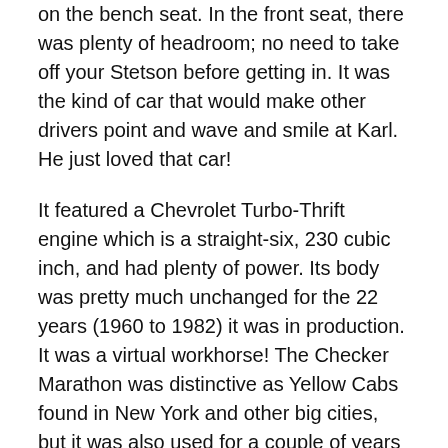on the bench seat. In the front seat, there was plenty of headroom; no need to take off your Stetson before getting in. It was the kind of car that would make other drivers point and wave and smile at Karl. He just loved that car!
It featured a Chevrolet Turbo-Thrift engine which is a straight-six, 230 cubic inch, and had plenty of power. Its body was pretty much unchanged for the 22 years (1960 to 1982) it was in production. It was a virtual workhorse! The Checker Marathon was distinctive as Yellow Cabs found in New York and other big cities, but it was also used for a couple of years in the late 60s in Pope Saint Paul VI's entourage motorcade — painted black of course.
Between 1978 and 1991, Karl cherished that car. It was the only one like it in Indy. Just like it's owner, it was one of a kind. One of his first acts of ownership was to place a WTLC sticker in the back window. He could often be heard